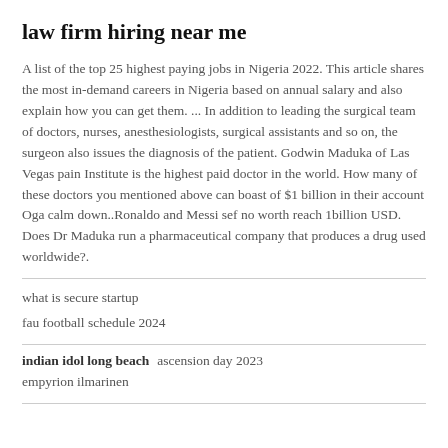law firm hiring near me
A list of the top 25 highest paying jobs in Nigeria 2022. This article shares the most in-demand careers in Nigeria based on annual salary and also explain how you can get them. ... In addition to leading the surgical team of doctors, nurses, anesthesiologists, surgical assistants and so on, the surgeon also issues the diagnosis of the patient. Godwin Maduka of Las Vegas pain Institute is the highest paid doctor in the world. How many of these doctors you mentioned above can boast of $1 billion in their account Oga calm down..Ronaldo and Messi sef no worth reach 1billion USD. Does Dr Maduka run a pharmaceutical company that produces a drug used worldwide?.
what is secure startup
fau football schedule 2024
indian idol long beach  ascension day 2023
empyrion ilmarinen